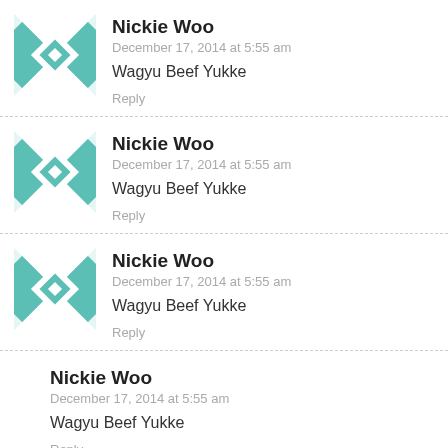[Figure (illustration): Teal geometric quilt-pattern avatar for Nickie Woo (comment 1)]
Nickie Woo
December 17, 2014 at 5:55 am
Wagyu Beef Yukke
Reply
[Figure (illustration): Teal geometric quilt-pattern avatar for Nickie Woo (comment 2)]
Nickie Woo
December 17, 2014 at 5:55 am
Wagyu Beef Yukke
Reply
[Figure (illustration): Teal geometric quilt-pattern avatar for Nickie Woo (comment 3)]
Nickie Woo
December 17, 2014 at 5:55 am
Wagyu Beef Yukke
Reply
Nickie Woo
December 17, 2014 at 5:55 am
Wagyu Beef Yukke
Reply